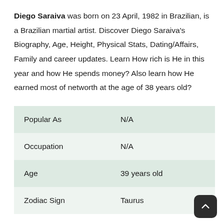Diego Saraiva was born on 23 April, 1982 in Brazilian, is a Brazilian martial artist. Discover Diego Saraiva's Biography, Age, Height, Physical Stats, Dating/Affairs, Family and career updates. Learn How rich is He in this year and how He spends money? Also learn how He earned most of networth at the age of 38 years old?
| Popular As | N/A |
| Occupation | N/A |
| Age | 39 years old |
| Zodiac Sign | Taurus |